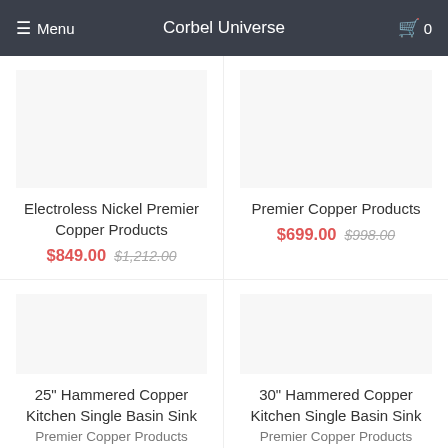Menu | Corbel Universe | 🛒 0
Electroless Nickel Premier Copper Products
$849.00 $1,212.00
Premier Copper Products
$699.00 $998.00
25" Hammered Copper Kitchen Single Basin Sink Premier Copper Products
$849.00 $1,212.00
30" Hammered Copper Kitchen Single Basin Sink Premier Copper Products
$949.00 $1,355.00